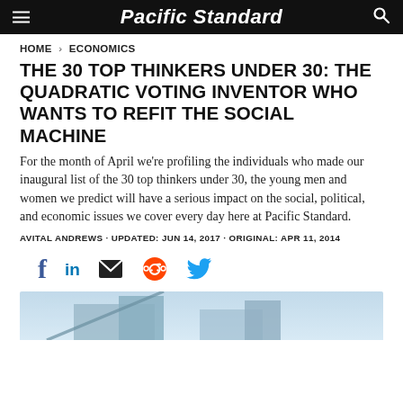Pacific Standard
HOME > ECONOMICS
THE 30 TOP THINKERS UNDER 30: THE QUADRATIC VOTING INVENTOR WHO WANTS TO REFIT THE SOCIAL MACHINE
For the month of April we're profiling the individuals who made our inaugural list of the 30 top thinkers under 30, the young men and women we predict will have a serious impact on the social, political, and economic issues we cover every day here at Pacific Standard.
AVITAL ANDREWS · UPDATED: JUN 14, 2017 · ORIGINAL: APR 11, 2014
[Figure (other): Social media sharing icons: Facebook, LinkedIn, Email, Reddit, Twitter]
[Figure (photo): Partial photo of a building or architectural structure against a light sky background]